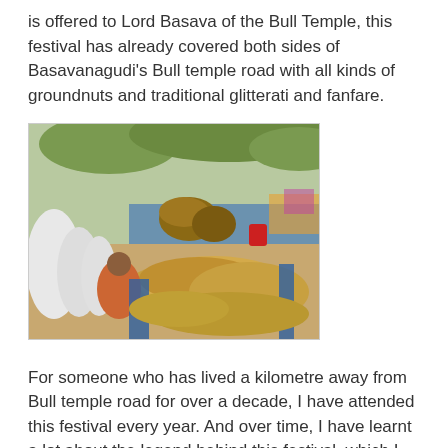is offered to Lord Basava of the Bull Temple, this festival has already covered both sides of Basavanagudi's Bull temple road with all kinds of groundnuts and traditional glitterati and fanfare.
[Figure (photo): Outdoor market scene showing large piles of groundnuts spread on blue tarps on a road, with a woman vendor sitting among sacks and baskets of goods, trees in background.]
For someone who has lived a kilometre away from Bull temple road for over a decade, I have attended this festival every year. And over time, I have learnt a lot about the legend behind this festival, which I am pretty sure you are also keen to know.